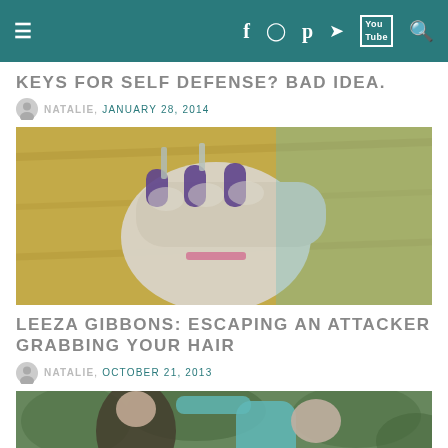Navigation bar with hamburger menu and social icons: f, instagram, p, twitter, YouTube, search
KEYS FOR SELF DEFENSE? BAD IDEA.
NATALIE, JANUARY 28, 2014
[Figure (photo): Close-up of a fist with keys between fingers, purple painted nails, against a yellow wooden background]
LEEZA GIBBONS: ESCAPING AN ATTACKER GRABBING YOUR HAIR
NATALIE, OCTOBER 21, 2013
[Figure (photo): Two people outdoors, one grabbing the other's hair from behind, in a self-defense demonstration]